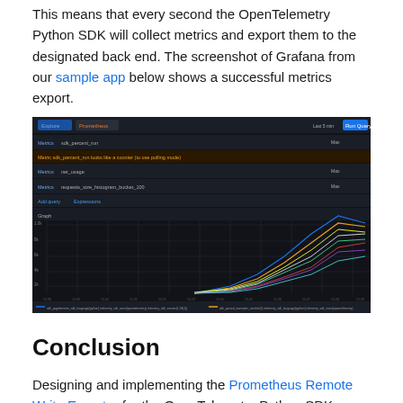This means that every second the OpenTelemetry Python SDK will collect metrics and export them to the designated back end. The screenshot of Grafana from our sample app below shows a successful metrics export.
[Figure (screenshot): Screenshot of Grafana/Prometheus dashboard showing a dark-themed explore view with multiple metric query rows and a line graph displaying several rising lines (various colors: blue, orange, yellow, white) trending upward from left to right, along with a legend at the bottom listing multiple telemetry labels.]
Conclusion
Designing and implementing the Prometheus Remote Write Exporter for the OpenTelemetry Python SDK was a great learning opportunity. We learned how to work with the open source